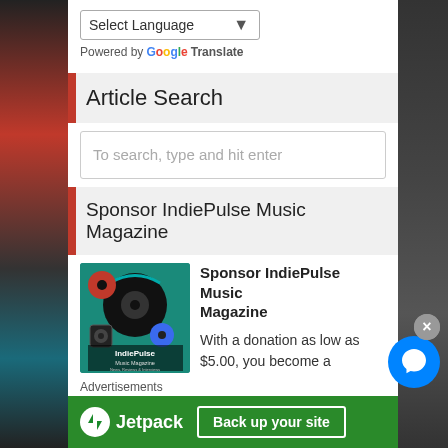Select Language
Powered by Google Translate
Article Search
To search, type and hit enter
Sponsor IndiePulse Music Magazine
Sponsor IndiePulse Music Magazine
With a donation as low as $5.00, you become a supporter of our
[Figure (illustration): IndiePulse Music Magazine logo with vinyl records and text: News, Reviews & Interviews Podcast Series]
Advertisements
[Figure (infographic): Jetpack advertisement banner with 'Back up your site' button on green background]